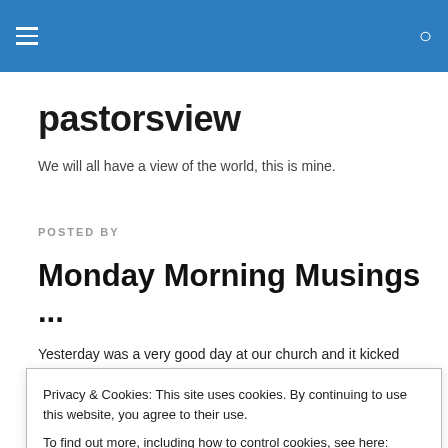pastorsview — site header bar with hamburger menu and search icon
pastorsview
We will all have a view of the world, this is mine.
POSTED BY
Monday Morning Musings ...
Yesterday was a very good day at our church and it kicked
Privacy & Cookies: This site uses cookies. By continuing to use this website, you agree to their use.
To find out more, including how to control cookies, see here: Cookie Policy
Close and accept
in paise and the church looks amazing. More than I much